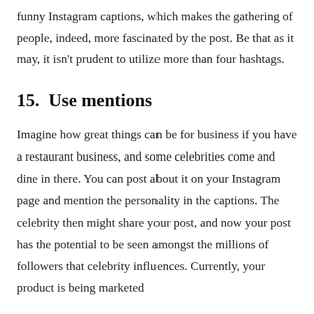funny Instagram captions, which makes the gathering of people, indeed, more fascinated by the post. Be that as it may, it isn't prudent to utilize more than four hashtags.
15.  Use mentions
Imagine how great things can be for business if you have a restaurant business, and some celebrities come and dine in there. You can post about it on your Instagram page and mention the personality in the captions. The celebrity then might share your post, and now your post has the potential to be seen amongst the millions of followers that celebrity influences. Currently, your product is being marketed